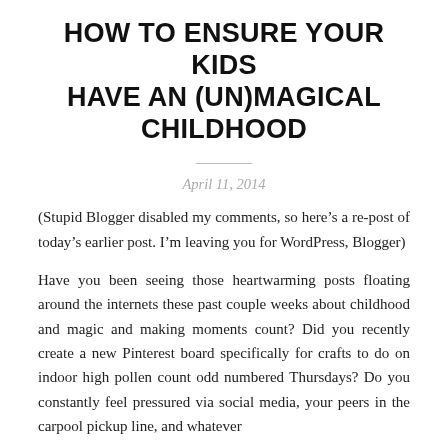HOW TO ENSURE YOUR KIDS HAVE AN (UN)MAGICAL CHILDHOOD
April 11, 2014
(Stupid Blogger disabled my comments, so here’s a re-post of today’s earlier post. I’m leaving you for WordPress, Blogger)
Have you been seeing those heartwarming posts floating around the internets these past couple weeks about childhood and magic and making moments count? Did you recently create a new Pinterest board specifically for crafts to do on indoor high pollen count odd numbered Thursdays? Do you constantly feel pressured via social media, your peers in the carpool pickup line, and whatever